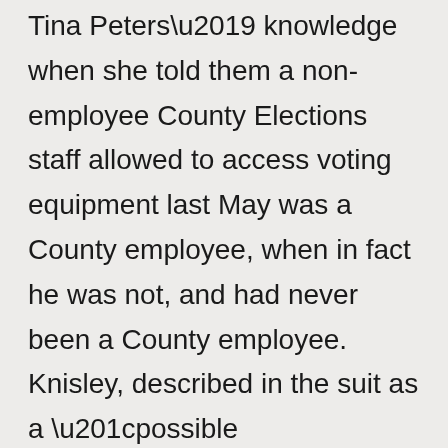Tina Peters' knowledge when she told them a non-employee County Elections staff allowed to access voting equipment last May was a County employee, when in fact he was not, and had never been a County employee. Knisley, described in the suit as a “possible successor” to Tina Peters in the Elections Department, is specifically named as a Respondent in the suit in addition to